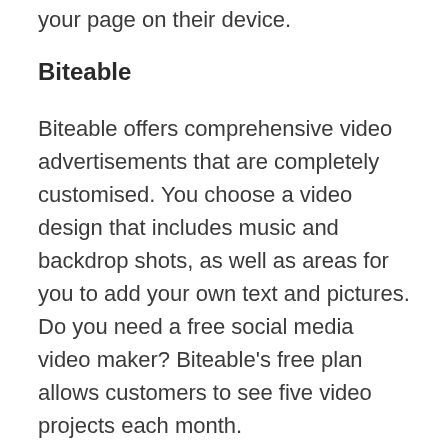your page on their device.
Biteable
Biteable offers comprehensive video advertisements that are completely customised. You choose a video design that includes music and backdrop shots, as well as areas for you to add your own text and pictures. Do you need a free social media video maker? Biteable’s free plan allows customers to see five video projects each month.